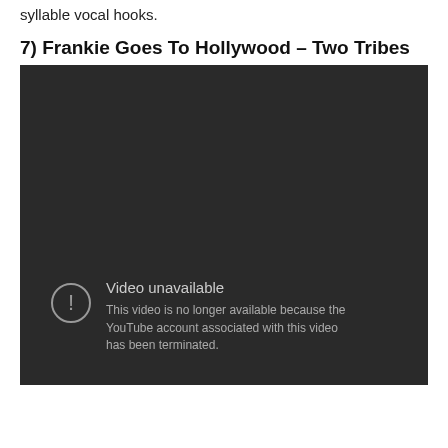syllable vocal hooks.
7) Frankie Goes To Hollywood – Two Tribes
[Figure (screenshot): Embedded YouTube video player showing 'Video unavailable' error message. The video is no longer available because the YouTube account associated with this video has been terminated.]